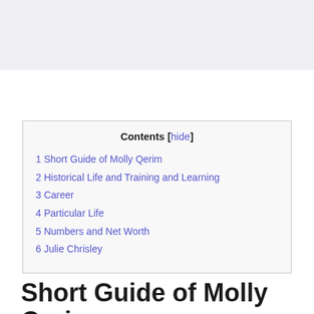[Figure (other): Gray banner at the top of the page]
| 1 Short Guide of Molly Qerim |
| 2 Historical Life and Training and Learning |
| 3 Career |
| 4 Particular Life |
| 5 Numbers and Net Worth |
| 6 Julie Chrisley |
Short Guide of Molly Qerim